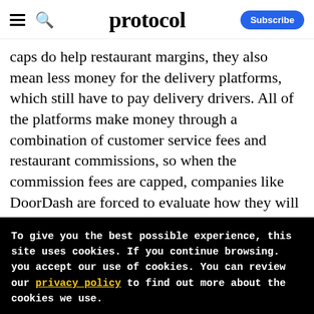protocol | Subscribe
caps do help restaurant margins, they also mean less money for the delivery platforms, which still have to pay delivery drivers. All of the platforms make money through a combination of customer service fees and restaurant commissions, so when the commission fees are capped, companies like DoorDash are forced to evaluate how they will
To give you the best possible experience, this site uses cookies. If you continue browsing. you accept our use of cookies. You can review our privacy policy to find out more about the cookies we use.
Accept